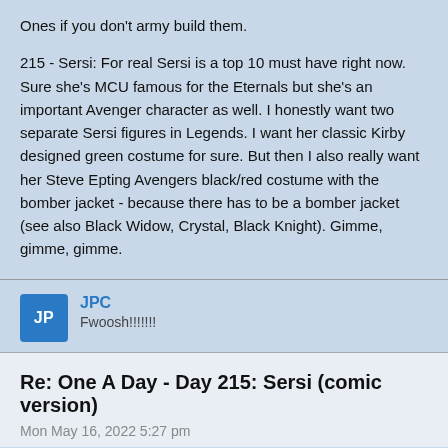Ones if you don't army build them.

215 - Sersi: For real Sersi is a top 10 must have right now. Sure she's MCU famous for the Eternals but she's an important Avenger character as well. I honestly want two separate Sersi figures in Legends. I want her classic Kirby designed green costume for sure. But then I also really want her Steve Epting Avengers black/red costume with the bomber jacket - because there has to be a bomber jacket (see also Black Widow, Crystal, Black Knight). Gimme, gimme, gimme.
JPC
Fwoosh!!!!!!!
Re: One A Day - Day 215: Sersi (comic version)
Mon May 16, 2022 5:27 pm